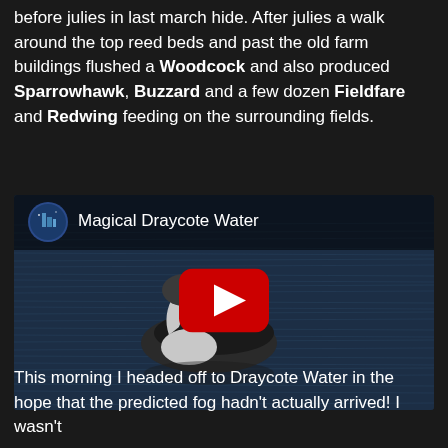before julies in last march hide. After julies a walk around the top reed beds and past the old farm buildings flushed a Woodcock and also produced Sparrowhawk, Buzzard and a few dozen Fieldfare and Redwing feeding on the surrounding fields.
[Figure (screenshot): Embedded YouTube video thumbnail showing a bird (diver/loon) swimming on dark blue water with the title 'Magical Draycote Water' and a red play button]
This morning I headed off to Draycote Water in the hope that the predicted fog hadn't actually arrived! I wasn't